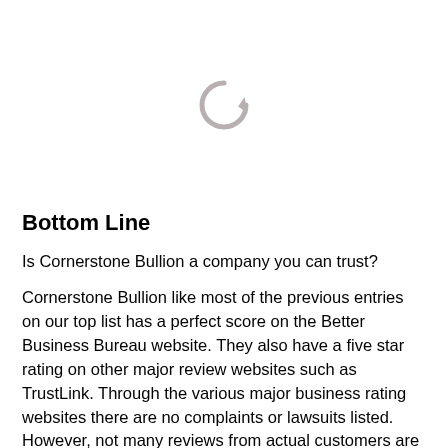[Figure (other): A loading/refresh spinner icon (circular arrow) in light gray, centered in the upper portion of the page, indicating content is loading.]
Bottom Line
Is Cornerstone Bullion a company you can trust?
Cornerstone Bullion like most of the previous entries on our top list has a perfect score on the Better Business Bureau website. They also have a five star rating on other major review websites such as TrustLink. Through the various major business rating websites there are no complaints or lawsuits listed. However, not many reviews from actual customers are to be found about